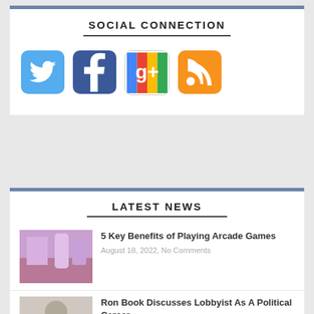SOCIAL CONNECTION
[Figure (infographic): Four social media icon buttons: Twitter (blue bird), Facebook (blue f), Google+ (colorful g+), RSS (orange RSS feed icon)]
LATEST NEWS
[Figure (photo): Thumbnail photo of arcade games area with colorful decor]
5 Key Benefits of Playing Arcade Games
August 18, 2022, No Comments
[Figure (photo): Thumbnail photo of two people at an event, man in suit]
Ron Book Discusses Lobbyist As A Political Career
August 18, 2022, No Comments
[Figure (photo): Thumbnail photo partially visible, Expert Private Pilot article]
Expert Private Pilot Michael Hsu on